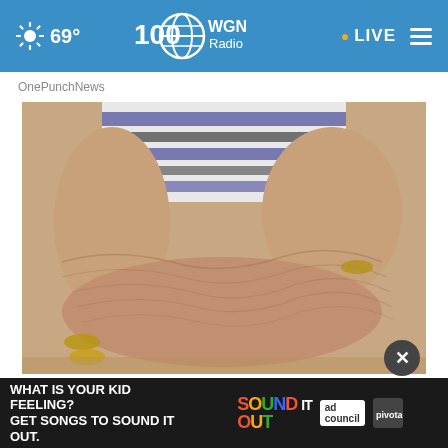69° WGN Radio LIVE
OnePunchNews
[Figure (photo): Close-up photograph of elderly person's arms with wrinkled skin, wearing a striped shirt and gold bracelet, resting on a surface.]
Top Nutritionist: 1 Vitamin You Need for Crepe Skin
Dr. Kellyann
WHAT IS YOUR KID FEELING? GET SONGS TO SOUND IT OUT. SOUND IT OUT ad council pivotal